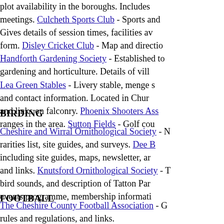plot availability in the boroughs. Includes meetings. Culcheth Sports Club - Sports and Gives details of session times, facilities av form. Disley Cricket Club - Map and directio Handforth Gardening Society - Established to gardening and horticulture. Details of vill Lea Green Stables - Livery stable, menge s and contact information. Located in Chur and links on falconry. Phoenix Shooters Ass ranges in the area. Sutton Fields - Golf cou
BIRDING
Cheshire and Wirral Ornithological Society - N rarities list, site guides, and surveys. Dee B including site guides, maps, newsletter, ar and links. Knutsford Ornithological Society - T bird sounds, and description of Tatton Par events programme, membership informati
FOOTBALL
The Cheshire County Football Association - G rules and regulations, and links.
Crewe Alexandra@ (12)